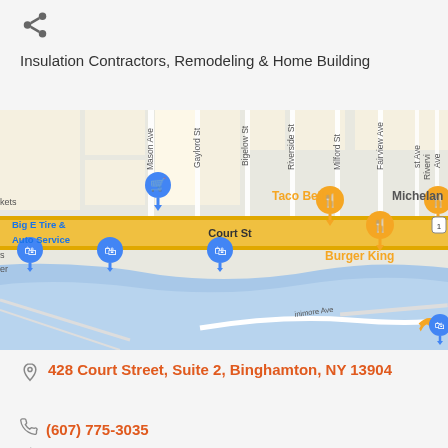[Figure (other): Share icon (network share symbol) in dark gray]
Insulation Contractors, Remodeling & Home Building
[Figure (map): Google Maps screenshot showing Court Street area in Binghamton, NY with landmarks including Taco Bell, Burger King, Big E Tire & Auto Service, Michelan; streets visible include Mason Ave, Gaylord St, Bigelow St, Riverside St, Milford St, Fairview Ave, Riverview Ave; a river runs through the lower portion of the map]
428 Court Street, Suite 2, Binghamton, NY 13904
(607) 775-3035
(607) 775-3045